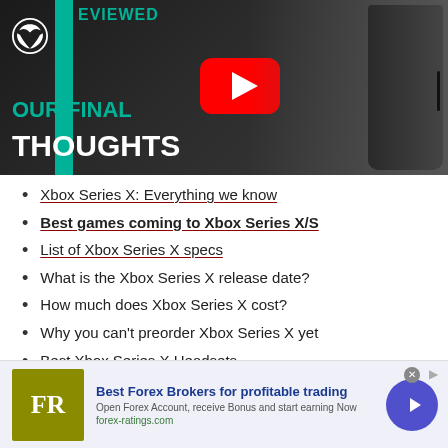[Figure (screenshot): YouTube video thumbnail for Xbox Series X review showing 'OUR FINAL THOUGHTS' text, Xbox logo, YouTube play button, and Xbox Series X console image with teal accent stripe and 'REVIEWED' text.]
Xbox Series X: Everything we know
Best games coming to Xbox Series X/S
List of Xbox Series X specs
What is the Xbox Series X release date?
How much does Xbox Series X cost?
Why you can't preorder Xbox Series X yet
Best Xbox Series X Headsets
[Figure (infographic): Advertisement banner for Forex Ratings showing FR logo, 'Best Forex Brokers for profitable trading' text, 'Open Forex Account, receive Bonus and start earning Now', 'forex-ratings.com', close button, and arrow CTA button.]